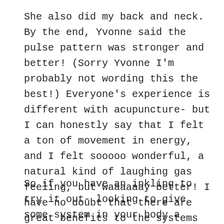She also did my back and neck. By the end, Yvonne said the pulse pattern was stronger and better! (Sorry Yvonne I'm probably not wording this the best!) Everyone's experience is different with acupuncture- but I can honestly say that I felt a ton of movement in energy, and I felt sooooo wonderful, a natural kind of laughing gas feeling, but waaaaaay better! I have no doubt that there are great benefits to the systems of the body by this wonderful form of healing.
So if you have an inkling to try it out- looking to give some system in your body a boost, have any kind of body pain, etc., then I would highly recommend going to see the beautiful energy, unbelievably humble, talented healer of Yvonne.